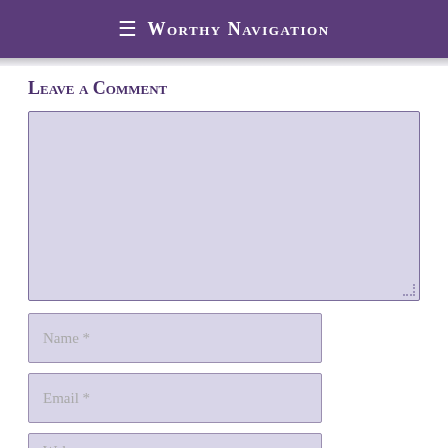≡ Worthy Navigation
Leave a Comment
[Figure (screenshot): A comment form with a large textarea, and input fields for Name *, Email *, and a partially visible Website * field. The textarea has a light purple background and a dotted resize handle at bottom-right.]